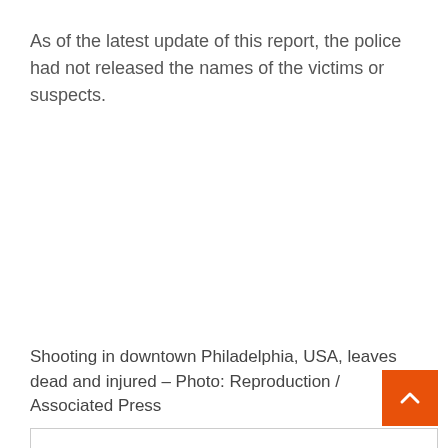As of the latest update of this report, the police had not released the names of the victims or suspects.
Shooting in downtown Philadelphia, USA, leaves dead and injured – Photo: Reproduction / Associated Press